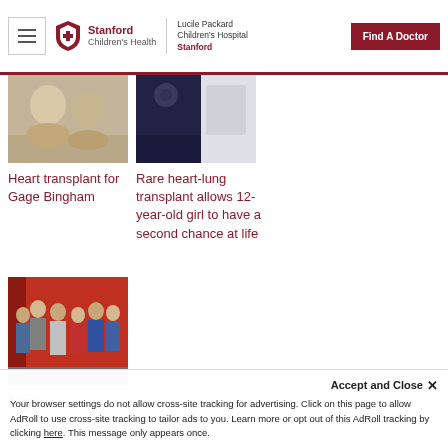Stanford Children's Health | Lucile Packard Children's Hospital Stanford | Find A Doctor
[Figure (photo): Partial view of two children with clay or craft materials]
[Figure (photo): Partial view of a person in dark patterned top holding something, another person in white nearby]
Heart transplant for Gage Bingham
Rare heart-lung transplant allows 12-year-old girl to have a second chance at life
[Figure (photo): A family of several people including children standing in front of a red barn]
New documentary
Accept and Close ×
Your browser settings do not allow cross-site tracking for advertising. Click on this page to allow AdRoll to use cross-site tracking to tailor ads to you. Learn more or opt out of this AdRoll tracking by clicking here. This message only appears once.